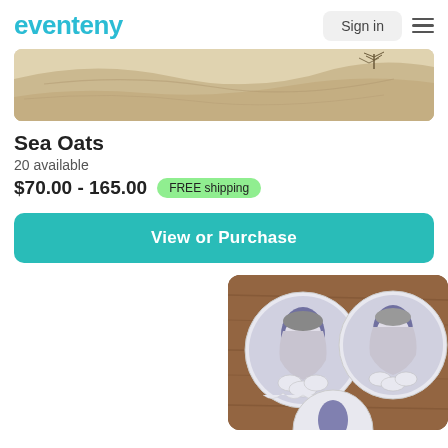[Figure (logo): Eventeny logo in teal/blue color]
Sign in
[Figure (photo): Sandy desert/beach dune landscape photo]
Sea Oats
20 available
$70.00 - 165.00  FREE shipping
View or Purchase
[Figure (photo): Three circular sticker artwork pieces showing anime-style female figures with flowers on a wooden background]